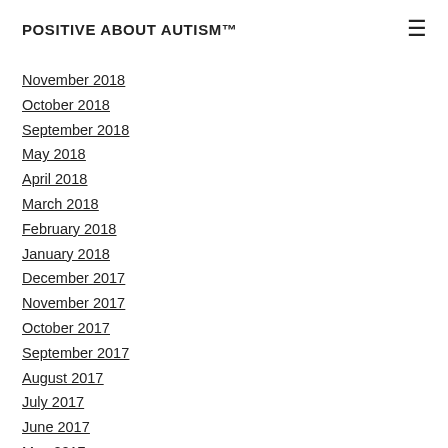POSITIVE ABOUT AUTISM™
November 2018
October 2018
September 2018
May 2018
April 2018
March 2018
February 2018
January 2018
December 2017
November 2017
October 2017
September 2017
August 2017
July 2017
June 2017
May 2017